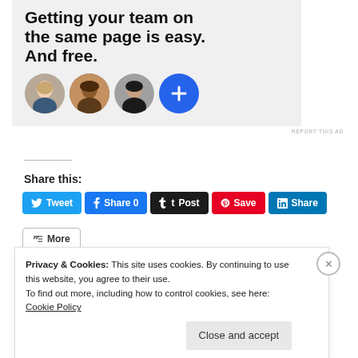[Figure (illustration): Advertisement banner with dark background showing text 'Getting your team on the same page is easy. And free.' with three circular avatar photos and a blue plus button]
REPORT THIS AD
Share this:
[Figure (infographic): Social media share buttons: Tweet (Twitter/blue), Share 0 (Facebook/blue), Post (Tumblr/black), Save (Pinterest/red), Share (LinkedIn/teal)]
More
Privacy & Cookies: This site uses cookies. By continuing to use this website, you agree to their use.
To find out more, including how to control cookies, see here: Cookie Policy
Close and accept